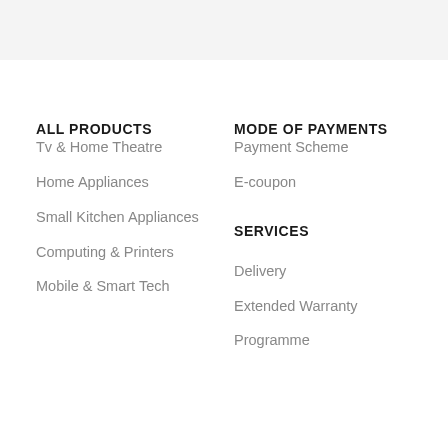ALL PRODUCTS
Tv & Home Theatre
Home Appliances
Small Kitchen Appliances
Computing & Printers
Mobile & Smart Tech
MODE OF PAYMENTS
Payment Scheme
E-coupon
SERVICES
Delivery
Extended Warranty
Programme